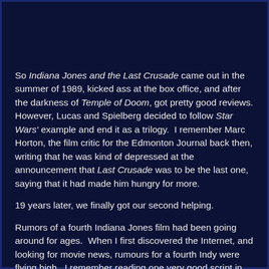So Indiana Jones and the Last Crusade came out in the summer of 1989, kicked ass at the box office, and after the darkness of Temple of Doom, got pretty good reviews. However, Lucas and Spielberg decided to follow Star Wars' example and end it as a trilogy.  I remember Marc Horton, the film critic for the Edmonton Journal back then, writing that he was kind of depressed at the announcement that Last Crusade was to be the last one, saying that it had made him hungry for more.
19 years later, we finally got our second helping.
Rumors of a fourth Indiana Jones film had been going around for ages.  When I first discovered the Internet, and looking for movie news, rumours for a fourth Indy were flying high.  I remember reading one very good script in the early 00s called Indiana Jones and the Sword of Arthur, in which the sacred treasure was the fabled sword Excalibur.  Turned out to be a hoax.  But one rumour that was always very...